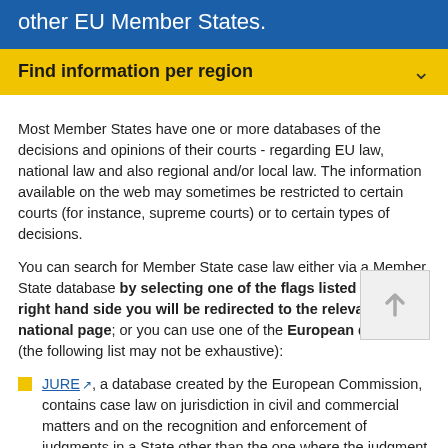other EU Member States.
Find information per region
Most Member States have one or more databases of the decisions and opinions of their courts - regarding EU law, national law and also regional and/or local law. The information available on the web may sometimes be restricted to certain courts (for instance, supreme courts) or to certain types of decisions.
You can search for Member State case law either via a Member State database by selecting one of the flags listed on the right hand side you will be redirected to the relevant national page; or you can use one of the European databases (the following list may not be exhaustive):
JURE [external link], a database created by the European Commission, contains case law on jurisdiction in civil and commercial matters and on the recognition and enforcement of judgments in a State other than the one where the judgment was passed. This includes case law on relevant international conventions